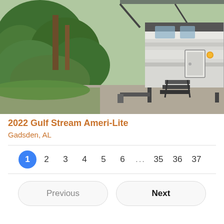[Figure (photo): Travel trailer RV (2022 Gulf Stream Ameri-Lite) parked on a concrete pad under a metal awning, surrounded by green trees and shrubs. The RV is white/silver with black trim, entry steps visible, and an orange marker light.]
2022 Gulf Stream Ameri-Lite
Gadsden, AL
1 2 3 4 5 6 ... 35 36 37
Previous   Next